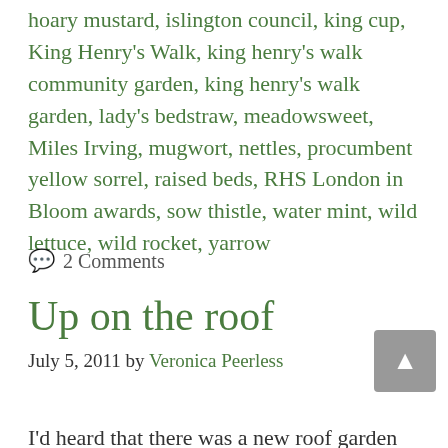hoary mustard, islington council, king cup, King Henry's Walk, king henry's walk community garden, king henry's walk garden, lady's bedstraw, meadowsweet, Miles Irving, mugwort, nettles, procumbent yellow sorrel, raised beds, RHS London in Bloom awards, sow thistle, water mint, wild lettuce, wild rocket, yarrow
💬 2 Comments
Up on the roof
July 5, 2011 by Veronica Peerless
I'd heard that there was a new roof garden